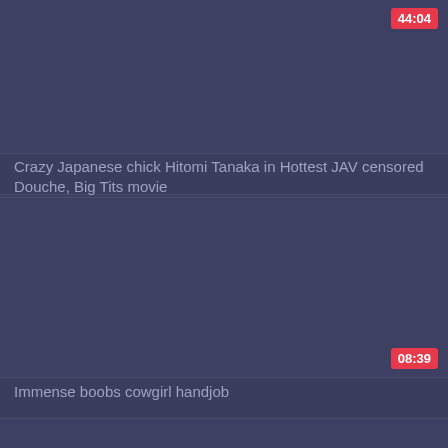[Figure (screenshot): Video thumbnail placeholder - dark blue-gray rectangle for first video]
44:04
Crazy Japanese chick Hitomi Tanaka in Hottest JAV censored Douche, Big Tits movie
[Figure (screenshot): Video thumbnail placeholder - dark blue-gray rectangle for second video]
08:39
Immense boobs cowgirl handjob